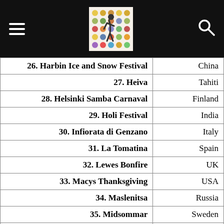Navigation header with logo and search icon
| Festival | Country |
| --- | --- |
| 26. Harbin Ice and Snow Festival | China |
| 27. Heiva | Tahiti |
| 28. Helsinki Samba Carnaval | Finland |
| 29. Holi Festival | India |
| 30. Infiorata di Genzano | Italy |
| 31. La Tomatina | Spain |
| 32. Lewes Bonfire | UK |
| 33. Macys Thanksgiving | USA |
| 34. Maslenitsa | Russia |
| 35. Midsommar | Sweden |
| 36. Notting hill carnival | UK |
| 37. Obon | Japan |
| 38. Oktoberfest | Germany |
| 39. Onbashira | Japan |